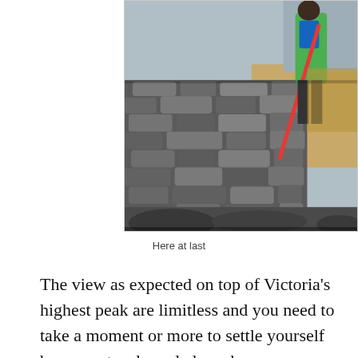[Figure (photo): A hiker with a red trekking pole stands beside a large dry-stone wall or cairn made of stacked rocks, on a rocky mountain summit. The landscape in the background is open moorland with a pale sky.]
Here at last
The view as expected on top of Victoria's highest peak are limitless and you need to take a moment or more to settle yourself be present, acknowledge where you are and breathe it in. We've been advised you can see Mt